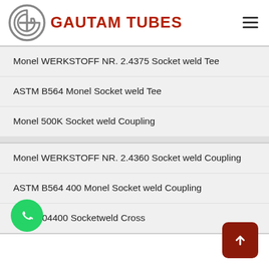GAUTAM TUBES
Monel WERKSTOFF NR. 2.4375 Socket weld Tee
ASTM B564 Monel Socket weld Tee
Monel 500K Socket weld Coupling
Monel WERKSTOFF NR. 2.4360 Socket weld Coupling
ASTM B564 400 Monel Socket weld Coupling
UNS N04400 Socketweld Cross